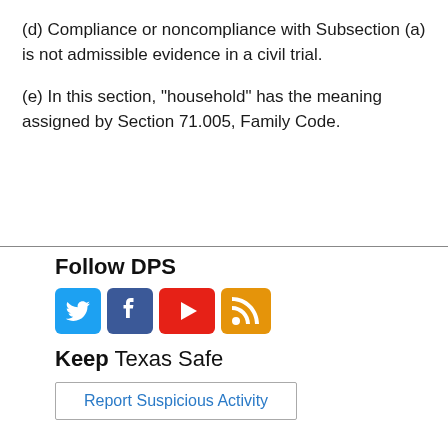(d) Compliance or noncompliance with Subsection (a) is not admissible evidence in a civil trial.
(e) In this section, "household" has the meaning assigned by Section 71.005, Family Code.
Follow DPS
[Figure (other): Social media icons: Twitter (blue bird), Facebook (blue f), YouTube (red play button), RSS feed (orange)]
Keep Texas Safe
Report Suspicious Activity
Policies
Texas Sites